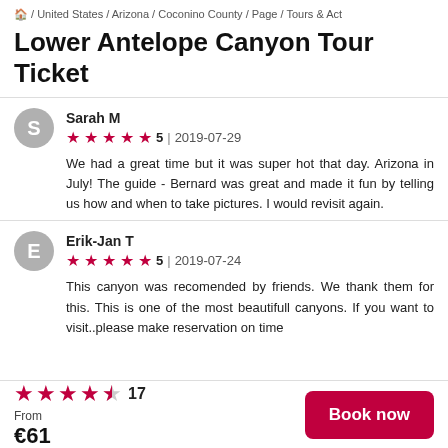/ United States / Arizona / Coconino County / Page / Tours & Act
Lower Antelope Canyon Tour Ticket
Sarah M
★★★★★ 5 | 2019-07-29
We had a great time but it was super hot that day. Arizona in July! The guide - Bernard was great and made it fun by telling us how and when to take pictures. I would revisit again.
Erik-Jan T
★★★★★ 5 | 2019-07-24
This canyon was recomended by friends. We thank them for this. This is one of the most beautifull canyons. If you want to visit..please make reservation on time
★★★★½ 17
From
€61
Book now